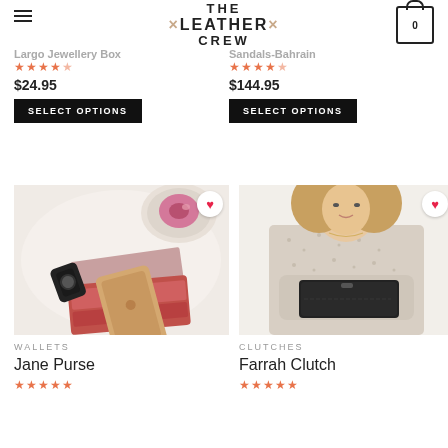THE X LEATHER X CREW — site header logo with cart icon
Largo Jewellery Box
$24.95
SELECT OPTIONS
Sandals-Bahrain
$144.95
SELECT OPTIONS
[Figure (photo): Flatlay image of a pink/red leather wallet open with iPhone and cards, beside a watch, donut, and magazine on a light background]
WALLETS
Jane Purse
[Figure (photo): Woman holding a black leather clutch, wearing a snake-print blouse]
CLUTCHES
Farrah Clutch